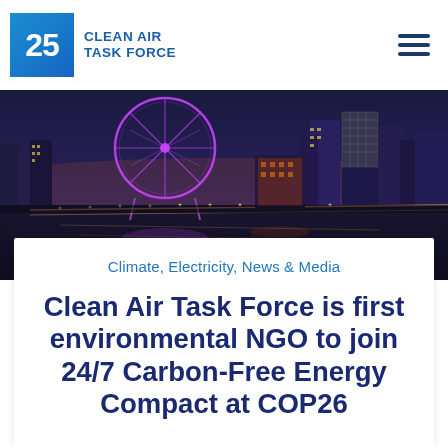25 CLEAN AIR TASK FORCE
[Figure (photo): Nighttime cityscape showing a large Ferris wheel, illuminated bridges and modern buildings reflected in a river, likely Glasgow for COP26]
Climate, Electricity, News & Media
Clean Air Task Force is first environmental NGO to join 24/7 Carbon-Free Energy Compact at COP26